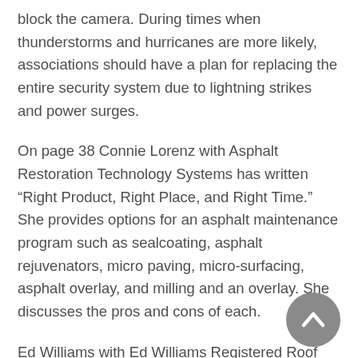block the camera. During times when thunderstorms and hurricanes are more likely, associations should have a plan for replacing the entire security system due to lightning strikes and power surges.
On page 38 Connie Lorenz with Asphalt Restoration Technology Systems has written “Right Product, Right Place, and Right Time.” She provides options for an asphalt maintenance program such as sealcoating, asphalt rejuvenators, micro paving, micro-surfacing, asphalt overlay, and milling and an overlay. She discusses the pros and cons of each.
Ed Williams with Ed Williams Registered Roof Consultant has authored “Money in Your Pocket” on page 42. He points out the importance of protecting the life of your roof, and he provides several solutions to do